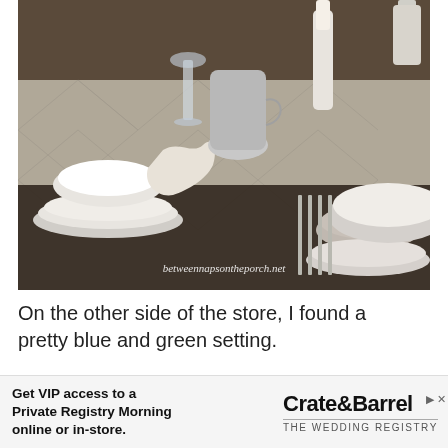[Figure (photo): A beautifully set dining table with silver candlesticks, crystal glassware, white bowls on stacked plates, linen napkins, and silverware on a gray patterned tablecloth. Watermark reads 'betweennapsontheporch.net'.]
On the other side of the store, I found a pretty blue and green setting.
[Figure (photo): Interior of a store (Crate & Barrel) showing shelving units with dishes, bowls, and kitchenware displayed, with green plants and warm wood shelving.]
Get VIP access to a Private Registry Morning online or in-store. Crate&Barrel THE WEDDING REGISTRY